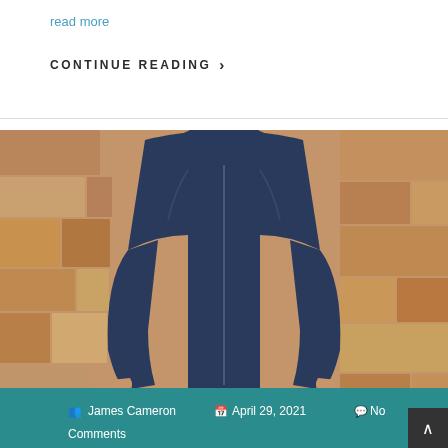read more
CONTINUE READING >
[Figure (photo): Person wearing a navy blue zip-up hoodie/fleece jacket standing against a stone wall background. The photo has a teal metadata bar at the bottom showing author and date information.]
James Cameron   April 29, 2021   No Comments